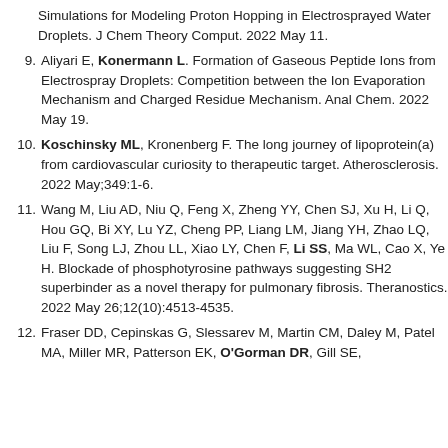Simulations for Modeling Proton Hopping in Electrosprayed Water Droplets. J Chem Theory Comput. 2022 May 11.
9. Aliyari E, Konermann L. Formation of Gaseous Peptide Ions from Electrospray Droplets: Competition between the Ion Evaporation Mechanism and Charged Residue Mechanism. Anal Chem. 2022 May 19.
10. Koschinsky ML, Kronenberg F. The long journey of lipoprotein(a) from cardiovascular curiosity to therapeutic target. Atherosclerosis. 2022 May;349:1-6.
11. Wang M, Liu AD, Niu Q, Feng X, Zheng YY, Chen SJ, Xu H, Li Q, Hou GQ, Bi XY, Lu YZ, Cheng PP, Liang LM, Jiang YH, Zhao LQ, Liu F, Song LJ, Zhou LL, Xiao LY, Chen F, Li SS, Ma WL, Cao X, Ye H. Blockade of phosphotyrosine pathways suggesting SH2 superbinder as a novel therapy for pulmonary fibrosis. Theranostics. 2022 May 26;12(10):4513-4535.
12. Fraser DD, Cepinskas G, Slessarev M, Martin CM, Daley M, Patel MA, Miller MR, Patterson EK, O'Gorman DR, Gill SE.